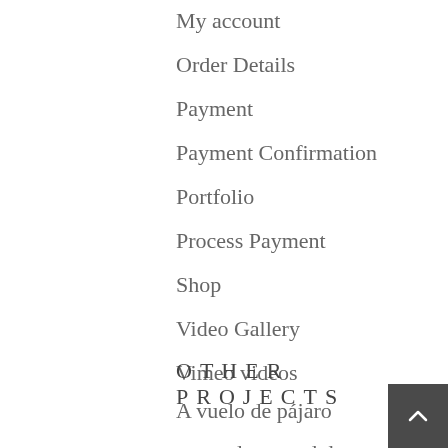My account
Order Details
Payment
Payment Confirmation
Portfolio
Process Payment
Shop
Video Gallery
Vimeo videos
OTHER PROJECTS
A vuelo de pájaro
art.netdortmund.de